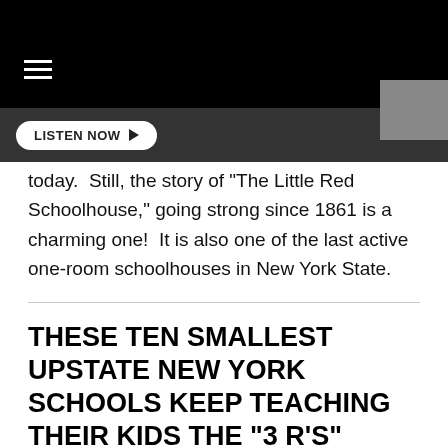LISTEN NOW
today.  Still, the story of "The Little Red Schoolhouse," going strong since 1861 is a charming one!  It is also one of the last active one-room schoolhouses in New York State.
THESE TEN SMALLEST UPSTATE NEW YORK SCHOOLS KEEP TEACHING THEIR KIDS THE "3 R'S"
These are the ten smallest school districts in New York (by enrollment). Notice they are almost exclusively located in